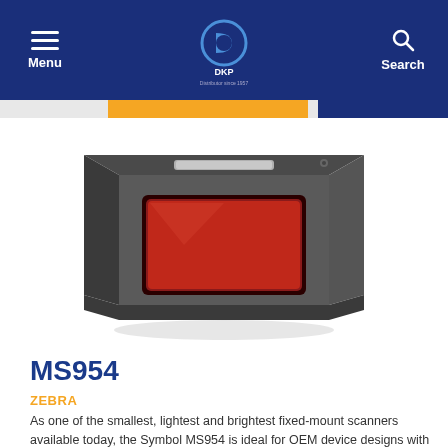Menu | DKP | Search
[Figure (photo): Zebra MS954 fixed-mount barcode scanner, a compact dark grey box with a red scanning window on the front face]
MS954
ZEBRA
As one of the smallest, lightest and brightest fixed-mount scanners available today, the Symbol MS954 is ideal for OEM device designs with space const...